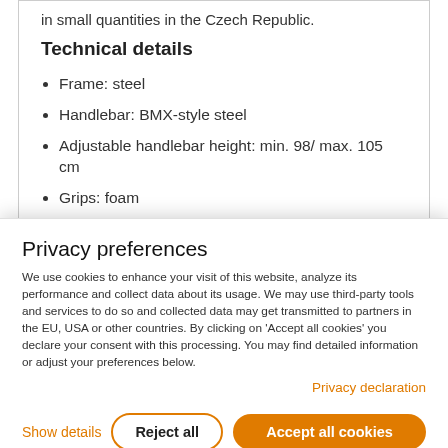in small quantities in the Czech Republic.
Technical details
Frame: steel
Handlebar: BMX-style steel
Adjustable handlebar height: min. 98/ max. 105 cm
Grips: foam
Aheadset
Privacy preferences
We use cookies to enhance your visit of this website, analyze its performance and collect data about its usage. We may use third-party tools and services to do so and collected data may get transmitted to partners in the EU, USA or other countries. By clicking on 'Accept all cookies' you declare your consent with this processing. You may find detailed information or adjust your preferences below.
Privacy declaration
Show details
Reject all
Accept all cookies